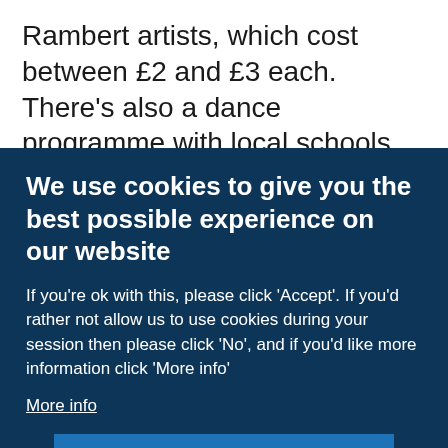Rambert artists, which cost between £2 and £3 each. There's also a dance programme with local schools and Rambert gives our community free tickets to in-person and online performances. Find out about Rambert Classes available now to residents of Coin
We use cookies to give you the best possible experience on our website
If you're ok with this, please click 'Accept'. If you'd rather not allow us to use cookies during your session then please click 'No', and if you'd like more information click 'More info'
More info
Accept →
No, thanks →